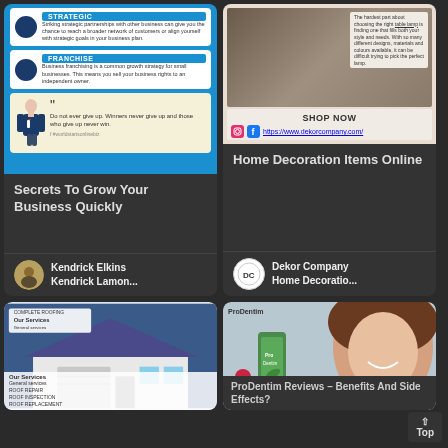[Figure (screenshot): Card showing business growth infographic with Strategic and Franchise sections, a motivational quote with silhouette figure. Title: Secrets To Grow Your Business Quickly. Author: Kendrick Elkins / Kendrick Lamon...]
Secrets To Grow Your Business Quickly
Kendrick Elkins
Kendrick Lamon...
[Figure (screenshot): Card showing home decoration advertisement with table lamp photo, Instagram and Facebook icons, SHOP NOW button, and link https://www.dekorcompany.com/. Title: Home Decoration Items Online. Publisher: Dekor Company Home Decoratio...]
Home Decoration Items Online
Dekor Company
Home Decoratio...
[Figure (screenshot): Partial card showing Complete Roofing advertisement with house image and Our Services list including General services, Roof Repair, Roof Inspection, Roof Replacement]
[Figure (screenshot): Card showing ProDentim supplement product with smiling woman. Title: ProDentim Reviews - Benefits And Side Effects?]
ProDentim Reviews – Benefits And Side Effects?